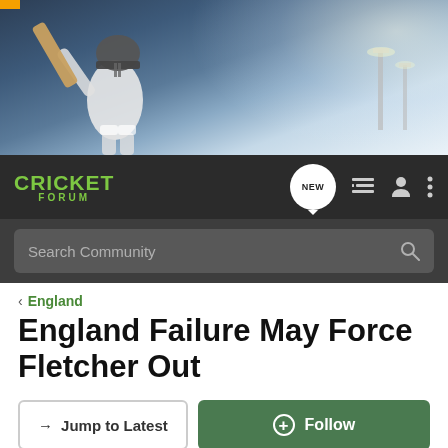[Figure (photo): Cricket website banner with a batsman silhouette on the left holding a bat, stadium floodlights and cloudy sky on the right, dark blue and grey tones]
CRICKET FORUM — navigation bar with NEW chat button, list icon, user icon, and menu icon
Search Community
< England
England Failure May Force Fletcher Out
→ Jump to Latest
+ Follow
1 - 1 of 1 Posts